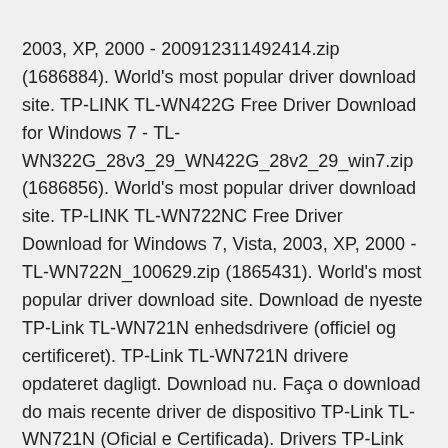2003, XP, 2000 - 200912311492414.zip (1686884). World's most popular driver download site. TP-LINK TL-WN422G Free Driver Download for Windows 7 - TL-WN322G_28v3_29_WN422G_28v2_29_win7.zip (1686856). World's most popular driver download site. TP-LINK TL-WN722NC Free Driver Download for Windows 7, Vista, 2003, XP, 2000 - TL-WN722N_100629.zip (1865431). World's most popular driver download site. Download de nyeste TP-Link TL-WN721N enhedsdrivere (officiel og certificeret). TP-Link TL-WN721N drivere opdateret dagligt. Download nu. Faça o download do mais recente driver de dispositivo TP-Link TL-WN721N (Oficial e Certificada). Drivers TP-Link TL-WN721N actualizados diariamente. Faça o Download Agora. TP-LINK driver. TP-LINK Network Drivers. () This site maintains listings of network drivers available on the web, organized by company. Includes links to useful resources.